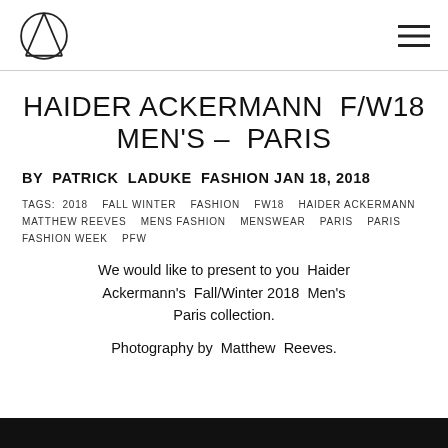Haider Ackermann logo and navigation
HAIDER ACKERMANN F/W18 MEN'S – PARIS
BY PATRICK LADUKE FASHION JAN 18, 2018
TAGS: 2018  FALL WINTER  FASHION  FW18  HAIDER ACKERMANN  MATTHEW REEVES  MENS FASHION  MENSWEAR  PARIS  PARIS FASHION WEEK  PFW
We would like to present to you Haider Ackermann's Fall/Winter 2018 Men's Paris collection.
Photography by Matthew Reeves.
[Figure (photo): Dark bottom strip representing a fashion photograph]